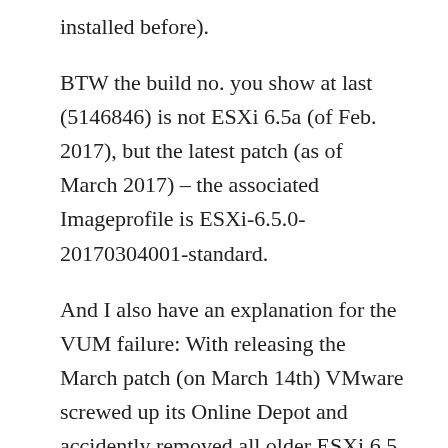installed before).
BTW the build no. you show at last (5146846) is not ESXi 6.5a (of Feb. 2017), but the latest patch (as of March 2017) – the associated Imageprofile is ESXi-6.5.0-20170304001-standard.
And I also have an explanation for the VUM failure: With releasing the March patch (on March 14th) VMware screwed up its Online Depot and accidently removed all older ESXi 6.5 imageprofiles and packages. This affected VUM for sure. Several days later VMware corrected the issue – now VUM should work fine again.
If you are not yet aware of my ESXi Patch Tracker (https://...